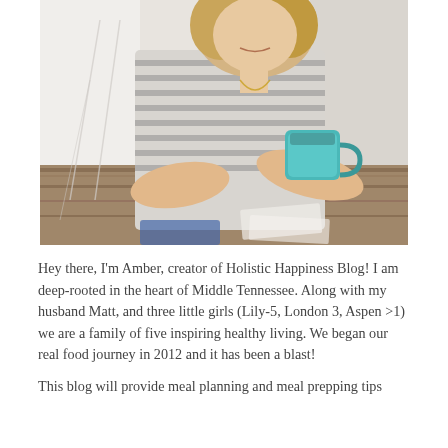[Figure (photo): A woman with blonde hair wearing a striped t-shirt sits at a wooden table holding a teal mug, smiling. Bright, airy background.]
Hey there, I'm Amber, creator of Holistic Happiness Blog! I am deep-rooted in the heart of Middle Tennessee. Along with my husband Matt, and three little girls (Lily-5, London 3, Aspen >1) we are a family of five inspiring healthy living. We began our real food journey in 2012 and it has been a blast!
This blog will provide meal planning and meal prepping tips